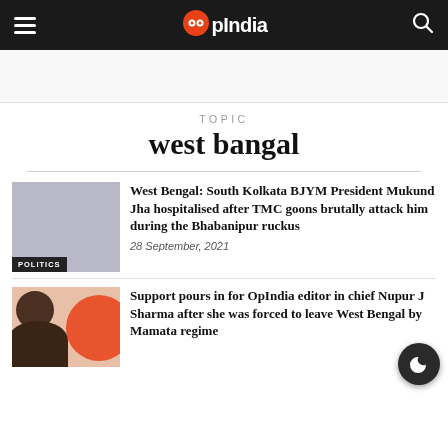OpIndia
TOPIC
west bangal
West Bengal: South Kolkata BJYM President Mukund Jha hospitalised after TMC goons brutally attack him during the Bhabanipur ruckus
28 September, 2021
Support pours in for OpIndia editor in chief Nupur J Sharma after she was forced to leave West Bengal by Mamata regime